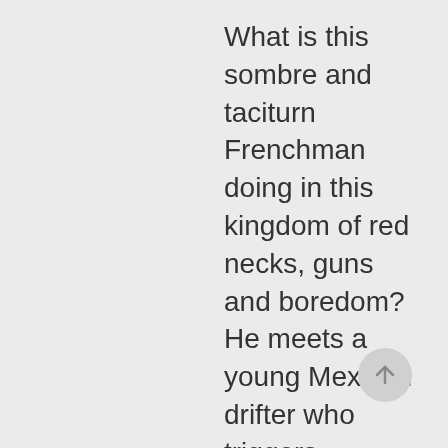What is this sombre and taciturn Frenchman doing in this kingdom of red necks, guns and boredom? He meets a young Mexican drifter who triggers something within him and
[Figure (other): A circular scroll-to-top button with an upward arrow icon, light gray background]